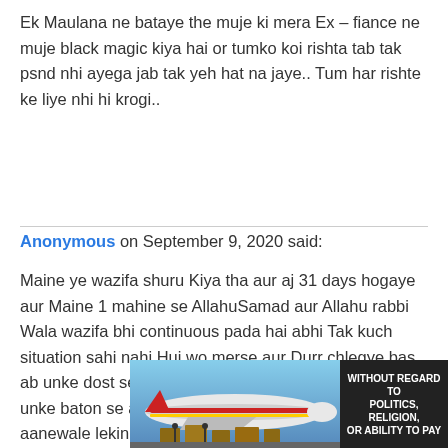Ek Maulana ne bataye the muje ki mera Ex – fiance ne muje black magic kiya hai or tumko koi rishta tab tak psnd nhi ayega jab tak yeh hat na jaye.. Tum har rishte ke liye nhi hi krogi..
Anonymous on September 9, 2020 said:
Maine ye wazifa shuru Kiya tha aur aj 31 days hogaye aur Maine 1 mahine se AllahuSamad aur Allahu rabbi Wala wazifa bhi continuous pada hai abhi Tak kuch situation sahi nahi Hui wo merse aur Durr chlegye bas ab unke dost se hi unke baremei Malum karti hu aur unke baton se aise dikhta hai ke ab wo wapas nahi aanewale lekin yakeen hai mujhe ke ek din aayenge zaroor Meri niyat bhi nikkah ki hai AllahuSamad Wala aur Allahu Rabbi Wala wazifa Mei jaari rakhu? Plz Dua kijiye
[Figure (photo): Advertisement image showing an airplane being loaded with cargo, with a dark panel on the right reading WITHOUT REGARD TO POLITICS, RELIGION, OR ABILITY TO PAY]